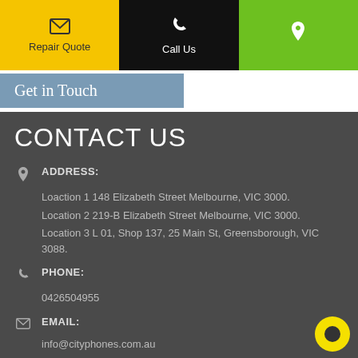Repair Quote | Call Us | [Location icon]
Get in Touch
CONTACT US
ADDRESS:
Loaction 1 148 Elizabeth Street Melbourne, VIC 3000.
Location 2 219-B Elizabeth Street Melbourne, VIC 3000.
Location 3 L 01, Shop 137, 25 Main St, Greensborough, VIC 3088.
PHONE:
0426504955
EMAIL:
info@cityphones.com.au
WORKING DAYS/HOURS:
WORKING DAYS/HOURS
Mon 9.30 AM to 6.30 PM